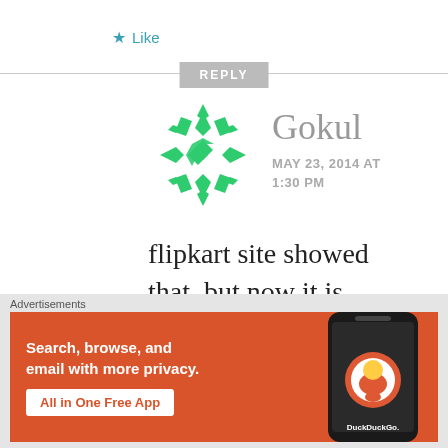★ Like
REPLY
[Figure (illustration): Green geometric snowflake/mandala avatar icon for user Gokul]
Gokul
MAY 23, 2014 AT 1:30 PM
flipkart site showed that, but now it is showing “we are facing technical
Advertisements
[Figure (screenshot): DuckDuckGo advertisement banner: Search, browse, and email with more privacy. All in One Free App. Shows DuckDuckGo app on a phone.]